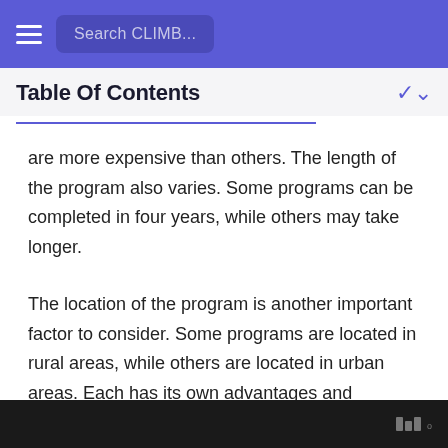Search CLIMB...
Table Of Contents
are more expensive than others. The length of the program also varies. Some programs can be completed in four years, while others may take longer.
The location of the program is another important factor to consider. Some programs are located in rural areas, while others are located in urban areas. Each has its own advantages and disadvantages. For example, rural programs may be less expensive, but they may not offer as many